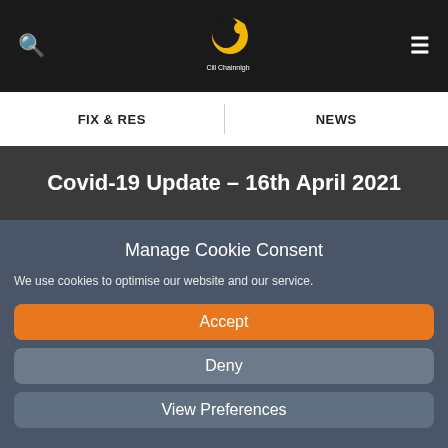Cill Chainnigh logo, search icon, menu icon
FIX & RES | NEWS
Covid-19 Update – 16th April 2021
Manage Cookie Consent
We use cookies to optimise our website and our service.
Accept
Deny
View Preferences